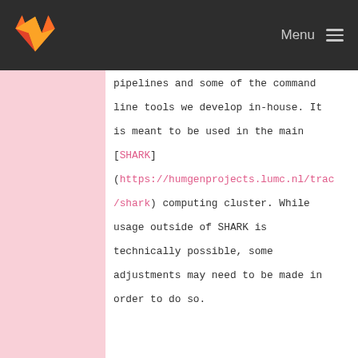GitLab — Menu
pipelines and some of the command line tools we develop in-house. It is meant to be used in the main [SHARK](https://humgenprojects.lumc.nl/trac/shark) computing cluster. While usage outside of SHARK is technically possible, some adjustments may need to be made in order to do so.
7 -
8 -
9 - ## Quick Start
10 -
11 - ### Running Biopet in the SHARK cluster
12 -
13 - Biopet is available as a JAR package in SHARK. The easiest way to start using it is to activate